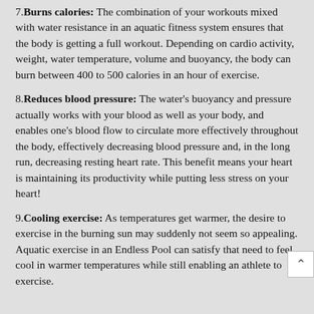7. Burns calories: The combination of your workouts mixed with water resistance in an aquatic fitness system ensures that the body is getting a full workout. Depending on cardio activity, weight, water temperature, volume and buoyancy, the body can burn between 400 to 500 calories in an hour of exercise.
8. Reduces blood pressure: The water's buoyancy and pressure actually works with your blood as well as your body, and enables one's blood flow to circulate more effectively throughout the body, effectively decreasing blood pressure and, in the long run, decreasing resting heart rate. This benefit means your heart is maintaining its productivity while putting less stress on your heart!
9. Cooling exercise: As temperatures get warmer, the desire to exercise in the burning sun may suddenly not seem so appealing. Aquatic exercise in an Endless Pool can satisfy that need to feel cool in warmer temperatures while still enabling an athlete to exercise.